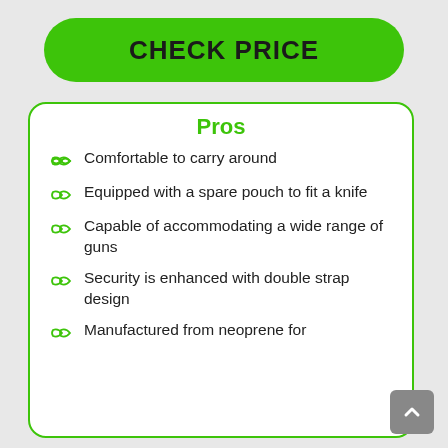CHECK PRICE
Pros
Comfortable to carry around
Equipped with a spare pouch to fit a knife
Capable of accommodating a wide range of guns
Security is enhanced with double strap design
Manufactured from neoprene for